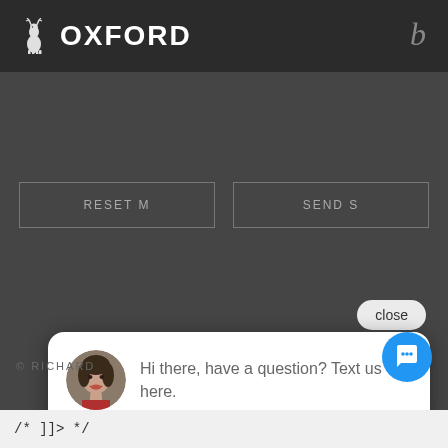[Figure (screenshot): Oxford University Press website header with deer logo and OXFORD wordmark on dark background, with letter 'b' on the right]
[Figure (screenshot): Two buttons labeled 'RESET M' and 'SEND S' on a dark gray background]
[Figure (screenshot): Chat popup with close button, avatar photo of a woman, and text 'Hi there, have a question? Text us here.' with blue chat FAB button]
© RICHARD
/* ]]> */